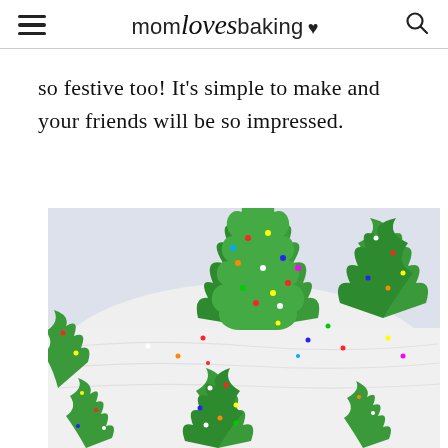mom loves baking
so festive too! It's simple to make and your friends will be so impressed.
[Figure (photo): Close-up photo of a white frosted cake decorated with green chocolate Christmas trees and colorful sprinkles on top and sides.]